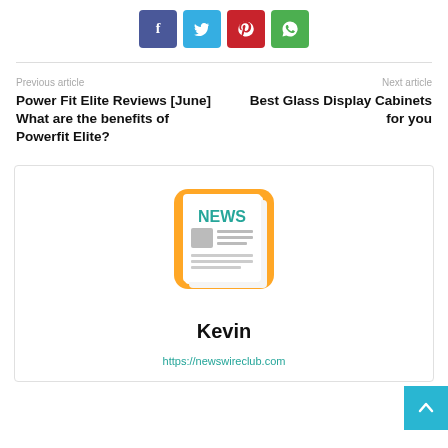[Figure (other): Social sharing buttons: Facebook (blue-purple), Twitter (light blue), Pinterest (red), WhatsApp (green)]
Previous article
Next article
Power Fit Elite Reviews [June] What are the benefits of Powerfit Elite?
Best Glass Display Cabinets for you
[Figure (illustration): News icon: newspaper with orange/yellow rounded square border, showing NEWS heading in teal and lines of text with a small image box]
Kevin
https://newswireclub.com